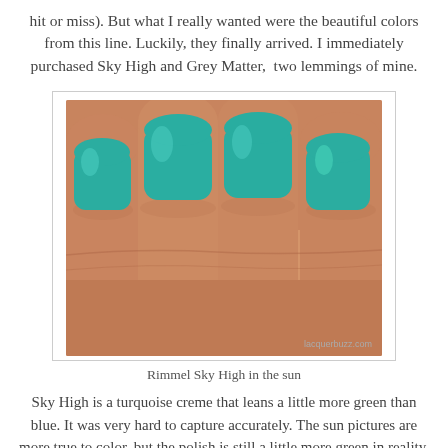hit or miss). But what I really wanted were the beautiful colors from this line. Luckily, they finally arrived. I immediately purchased Sky High and Grey Matter,  two lemmings of mine.
[Figure (photo): Close-up photo of a hand showing four fingers with teal/turquoise nail polish (Rimmel Sky High), taken in sunlight. Watermark reads lacquerbuzz.com.]
Rimmel Sky High in the sun
Sky High is a turquoise creme that leans a little more green than blue. It was very hard to capture accurately. The sun pictures are more true to color, but the polish is still a little more green in reality. Now, I do find this a very nice polish. What bothers me is that companies make certain claims about their products and reality is a lot different. For